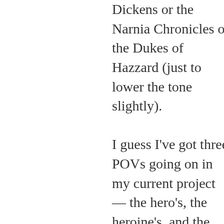Dickens or the Narnia Chronicles or the Dukes of Hazzard (just to lower the tone slightly).

I guess I've got three POVs going on in my current project — the hero's, the heroine's, and the occasional omniscient description. I basically switch between the